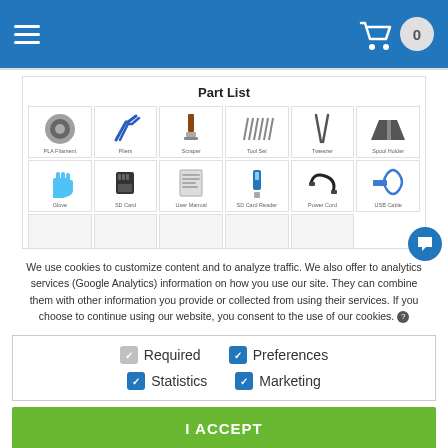[Figure (screenshot): Website header with blue background, hamburger menu on left, shopping cart icon and badge (0) on right]
Part List
[Figure (infographic): Grid of 3D printer part thumbnails: Row 1: PLA Filament, Pliers, Scraper, Tool Set, Tweezer, Spool Holder. Row 2: Glove, SD Card, User Manual, SD Card Reader, Power Cord, USB Cable. Row 3 (partial): 4 more items partially visible]
We use cookies to customize content and to analyze traffic. We also offer to analytics services (Google Analytics) information on how you use our site. They can combine them with other information you provide or collected from using their services. If you choose to continue using our website, you consent to the use of our cookies.
| Required | Preferences |
| Statistics | Marketing |
I ACCEPT